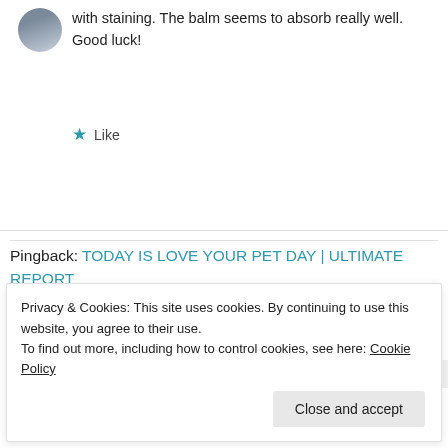with staining. The balm seems to absorb really well. Good luck!
★ Like
Pingback: TODAY IS LOVE YOUR PET DAY | ULTIMATE REPORT
[Figure (photo): Row of circular avatar profile photos and a blue plus button]
Privacy & Cookies: This site uses cookies. By continuing to use this website, you agree to their use.
To find out more, including how to control cookies, see here: Cookie Policy
Close and accept